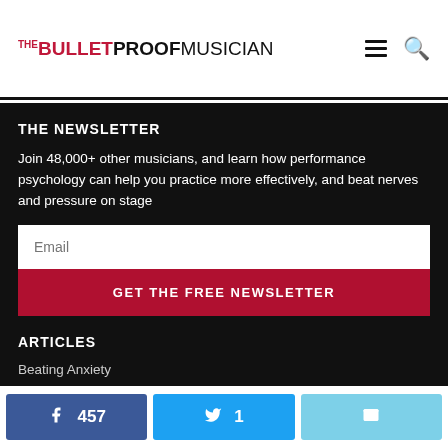THE BULLETPROOF MUSICIAN
THE NEWSLETTER
Join 48,000+ other musicians, and learn how performance psychology can help you practice more effectively, and beat nerves and pressure on stage
Email
GET THE FREE NEWSLETTER
ARTICLES
Beating Anxiety
Building Confidence
457  1  (email share)